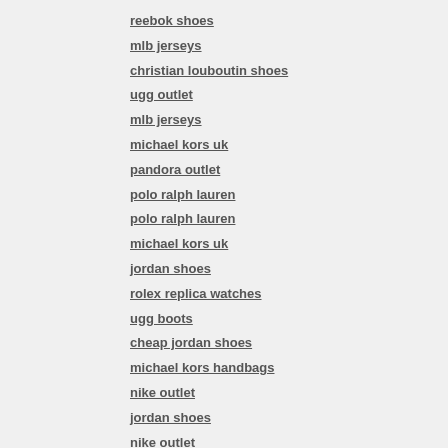reebok shoes
mlb jerseys
christian louboutin shoes
ugg outlet
mlb jerseys
michael kors uk
pandora outlet
polo ralph lauren
polo ralph lauren
michael kors uk
jordan shoes
rolex replica watches
ugg boots
cheap jordan shoes
michael kors handbags
nike outlet
jordan shoes
nike outlet
kate spade sale
coach factory outlet
coach outlet store
omega watches sale
coach outlet
ugg boots
nike air huarache
ugg outlet
ugg boots